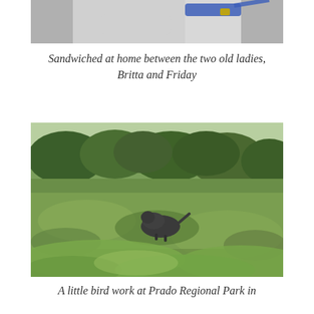[Figure (photo): Partial view of dogs at home, showing the midsection and collar of a white/grey dog with a blue collar, cropped at the top of the page.]
Sandwiched at home between the two old ladies, Britta and Friday
[Figure (photo): A dog doing bird work in a grassy open field at Prado Regional Park, surrounded by green shrubs and vegetation with trees in the background.]
A little bird work at Prado Regional Park in